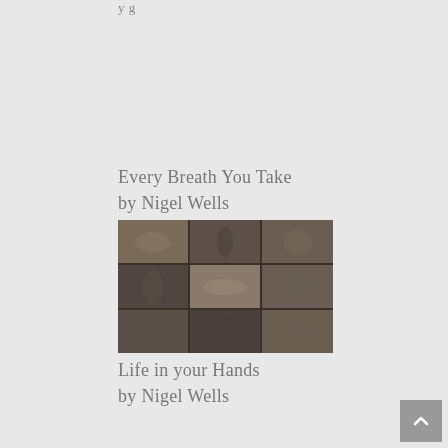y g
Every Breath You Take
by Nigel Wells
[Figure (photo): A 3x3 grid collage of black-and-white sepia photographs showing various hands holding or touching objects]
Life in your Hands
by Nigel Wells